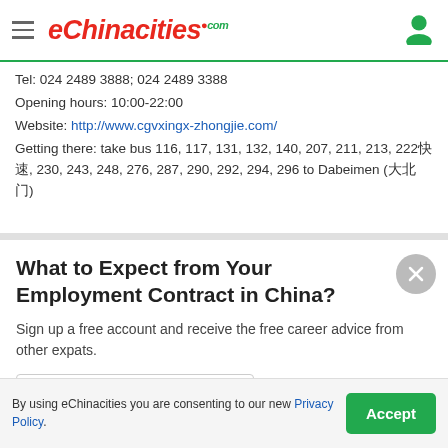eChinacities.com
Tel: 024 2489 3888; 024 2489 3388
Opening hours: 10:00-22:00
Website: http://www.cgvxingx-zhongjie.com/
Getting there: take bus 116, 117, 131, 132, 140, 207, 211, 213, 222快速, 230, 243, 248, 276, 287, 290, 292, 294, 296 to Dabeimen (大北门)
What to Expect from Your Employment Contract in China?
Sign up a free account and receive the free career advice from other expats.
[Figure (other): Sign up with Google button]
By using eChinacities you are consenting to our new Privacy Policy.